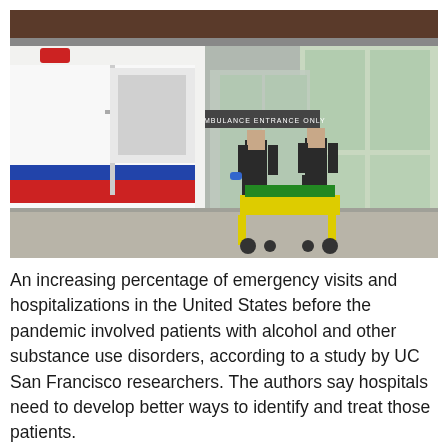[Figure (photo): Two paramedics in dark uniforms wheeling a patient on a yellow gurney into a hospital emergency entrance. A white ambulance with red and blue stripes is visible on the left. The entrance sign reads 'AMBULANCE ENTRANCE ONLY'.]
An increasing percentage of emergency visits and hospitalizations in the United States before the pandemic involved patients with alcohol and other substance use disorders, according to a study by UC San Francisco researchers. The authors say hospitals need to develop better ways to identify and treat those patients.